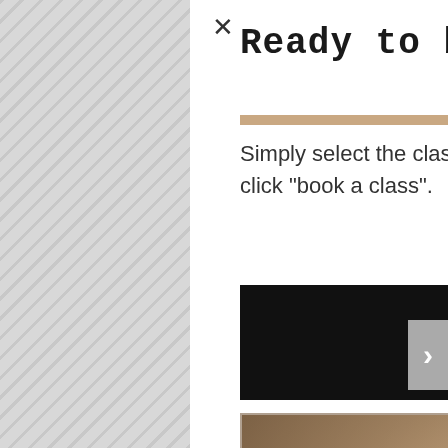Ready to book a class?
Simply select the class you would like to register for and click "book a class".
BOOK MY CLASS NOW
[Figure (photo): Sepia-toned vintage photograph of a person with curly hair, partially obscured, looking downward or bending over, with a soft vignette effect]